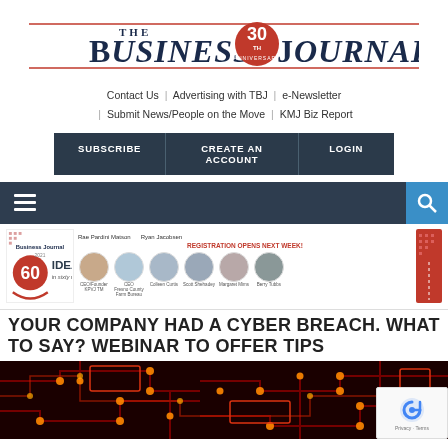[Figure (logo): The Business Journal 30th Anniversary logo — bold serif masthead with red 30th anniversary badge]
Contact Us | Advertising with TBJ | e-Newsletter | Submit News/People on the Move | KMJ Biz Report
SUBSCRIBE | CREATE AN ACCOUNT | LOGIN
[Figure (screenshot): Dark navigation bar with hamburger menu icon on left and blue search icon box on right]
[Figure (screenshot): Event banner for Business Journal 60 Ideas in 60 Minutes webinar featuring speakers Rae Pardini Matson, Ryan Jacobsen, Colleen Curtis, Scott Shehadey, Margaret Mims, Berry Tubbs — REGISTRATION OPENS NEXT WEEK!]
YOUR COMPANY HAD A CYBER BREACH. WHAT TO SAY? WEBINAR TO OFFER TIPS
[Figure (photo): Circuit board with red illuminated nodes and pathways on dark background]